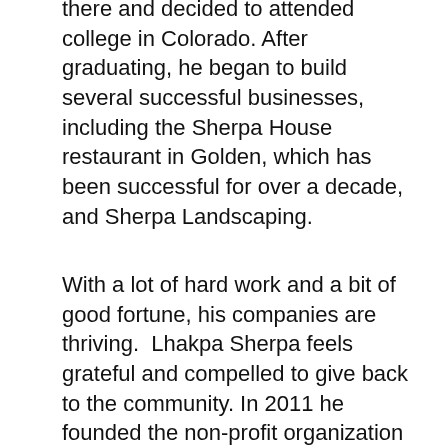there and decided to attended college in Colorado. After graduating, he began to build several successful businesses, including the Sherpa House restaurant in Golden, which has been successful for over a decade, and Sherpa Landscaping.
With a lot of hard work and a bit of good fortune, his companies are thriving.  Lhakpa Sherpa feels grateful and compelled to give back to the community. In 2011 he founded the non-profit organization ‘Hike for Help’ in partnership with the Colorado School of Mines. This NGO employs donors’ love for hiking and the outdoors, to raise funds by coordinating cultural expeditions to Nepal. The funds from these treks are then used to facilitate self-sustaining community development projects in the Khumbu Valley Everest region of Nepal. Hike for Help successfully completed many great projects, some examples are restoring trails that are important to the region’s infrastructure, constructing the first public restroom at the base of Mount Everest.